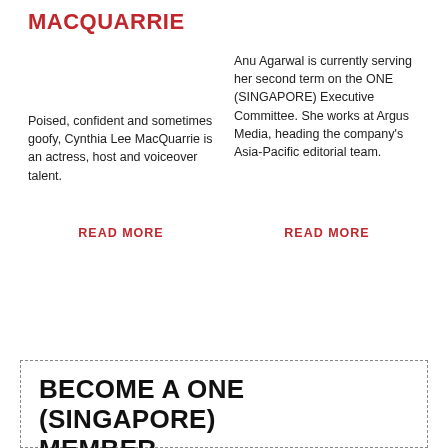MACQUARRIE
Poised, confident and sometimes goofy, Cynthia Lee MacQuarrie is an actress, host and voiceover talent.
Anu Agarwal is currently serving her second term on the ONE (SINGAPORE) Executive Committee. She works at Argus Media, heading the company's Asia-Pacific editorial team.
READ MORE
READ MORE
BECOME A ONE (SINGAPORE) MEMBER